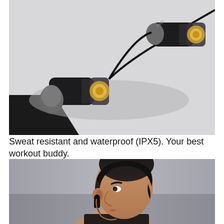[Figure (photo): Close-up photo of black and gold in-ear earphones/earbuds with transparent housing showing gold driver, resting on a light gray surface with black fabric visible in the lower left corner]
Sweat resistant and waterproof (IPX5). Your best workout buddy.
[Figure (photo): Side profile photo of a young man with styled dark hair wearing a black in-ear earphone in his left ear, with a blurred gray outdoor background]